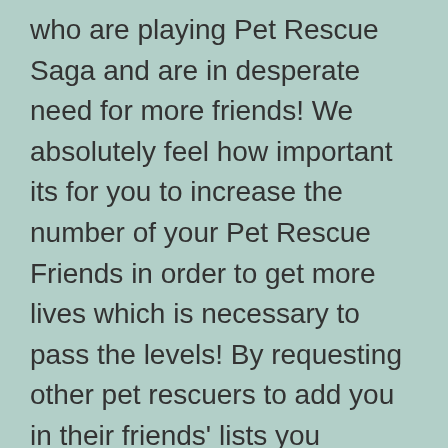who are playing Pet Rescue Saga and are in desperate need for more friends! We absolutely feel how important its for you to increase the number of your Pet Rescue Friends in order to get more lives which is necessary to pass the levels! By requesting other pet rescuers to add you in their friends' lists you actually grab the advantage of receiving lives/tickets almost the moment you need them! So what are you waiting for?
-
Pet Rescue Saga Boosters